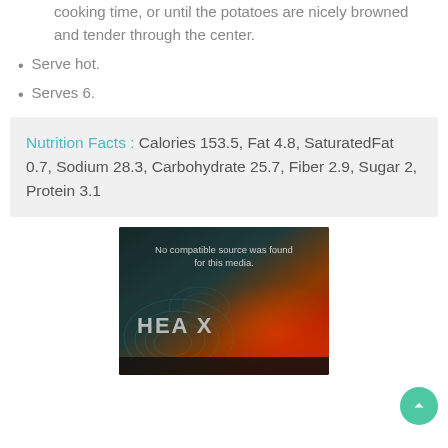cooking time, or until the potatoes are nicely browned and tender through the center.
Serve hot.
Serves 6.
Nutrition Facts : Calories 153.5, Fat 4.8, SaturatedFat 0.7, Sodium 28.3, Carbohydrate 25.7, Fiber 2.9, Sugar 2, Protein 3.1
[Figure (screenshot): Video player placeholder showing 'No compatible source was found for this media.' with a dark teal-to-red gradient background with topographic lines and 'HEA X' text logo. A green circular scroll-to-top button is in the bottom right.]